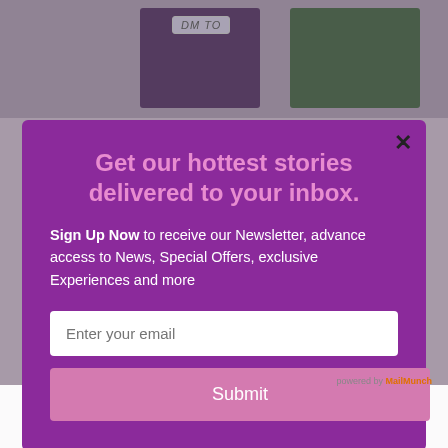[Figure (screenshot): Background webpage content showing social media images and text, partially obscured by modal overlay. TikTok and 'Open TikTok' text visible in background.]
Get our hottest stories delivered to your inbox.
Sign Up Now to receive our Newsletter, advance access to News, Special Offers, exclusive Experiences and more
Enter your email
Submit
We'll assume you're ok with this, but you can opt-out if you wish.
Accept
Read More